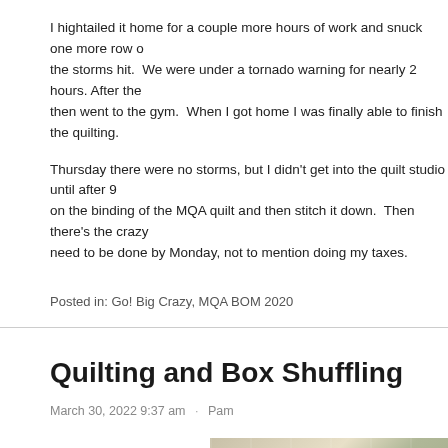I hightailed it home for a couple more hours of work and snuck one more row of the storms hit.  We were under a tornado warning for nearly 2 hours. After the then went to the gym.  When I got home I was finally able to finish the quilting.
Thursday there were no storms, but I didn't get into the quilt studio until after 9 on the binding of the MQA quilt and then stitch it down.  Then there's the crazy need to be done by Monday, not to mention doing my taxes.
Posted in: Go! Big Crazy, MQA BOM 2020
Quilting and Box Shuffling
March 30, 2022 9:37 am  ·  Pam
[Figure (photo): A photo showing a quilting studio or room with boxes and shelving visible]